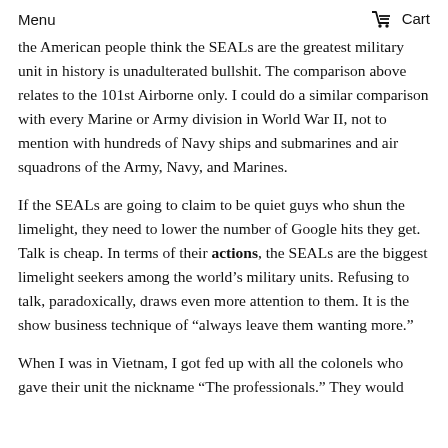Menu   Cart
the American people think the SEALs are the greatest military unit in history is unadulterated bullshit. The comparison above relates to the 101st Airborne only. I could do a similar comparison with every Marine or Army division in World War II, not to mention with hundreds of Navy ships and submarines and air squadrons of the Army, Navy, and Marines.
If the SEALs are going to claim to be quiet guys who shun the limelight, they need to lower the number of Google hits they get. Talk is cheap. In terms of their actions, the SEALs are the biggest limelight seekers among the world’s military units. Refusing to talk, paradoxically, draws even more attention to them. It is the show business technique of “always leave them wanting more.”
When I was in Vietnam, I got fed up with all the colonels who gave their unit the nickname “The professionals.” They would